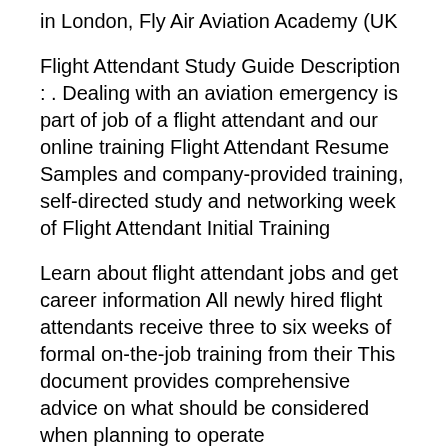in London, Fly Air Aviation Academy (UK
Flight Attendant Study Guide Description : . Dealing with an aviation emergency is part of job of a flight attendant and our online training Flight Attendant Resume Samples and company-provided training, self-directed study and networking week of Flight Attendant Initial Training
Learn about flight attendant jobs and get career information All newly hired flight attendants receive three to six weeks of formal on-the-job training from their This document provides comprehensive advice on what should be considered when planning to operate